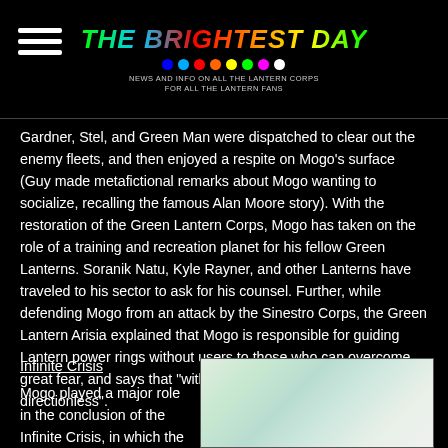THE BRIGHTEST DAY — News and info on all the Lantern Corps for all the Lantern fans
Gardner, Stel, and Green Man were dispatched to clear out the enemy fleets, and then enjoyed a respite on Mogo's surface (Guy made metafictional remarks about Mogo wanting to socialize, recalling the famous Alan Moore story). With the restoration of the Green Lantern Corps, Mogo has taken on the role of a training and recreation planet for his fellow Green Lanterns. Soranik Natu, Kyle Rayner, and other Lanterns have traveled to his sector to ask for his counsel. Further, while defending Mogo from an attack by the Sinestro Corps, the Green Lantern Arisia explained that Mogo is responsible for guiding Lantern power rings without users to those who can overcome great fear, and says that "without him, the rings are directionless".
Infinite Crisis
Mogo played a major role in the conclusion of the Infinite Crisis, in which the Green
[Figure (photo): A soft-focus image with pale green and white tones, appearing to show a planetary or cosmic scene]